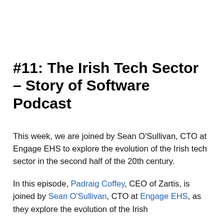#11: The Irish Tech Sector – Story of Software Podcast
This week, we are joined by Sean O'Sullivan, CTO at Engage EHS to explore the evolution of the Irish tech sector in the second half of the 20th century.
In this episode, Padraig Coffey, CEO of Zartis, is joined by Sean O'Sullivan, CTO at Engage EHS, as they explore the evolution of the Irish